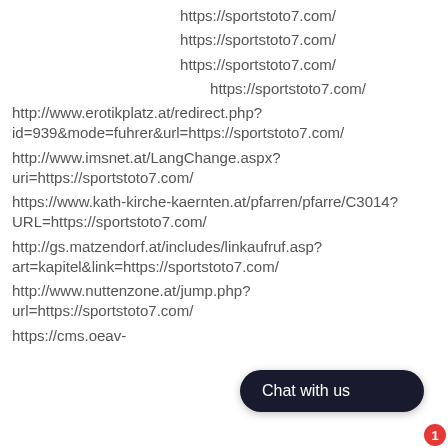https://sportstoto7.com/
https://sportstoto7.com/
https://sportstoto7.com/
https://sportstoto7.com/
http://www.erotikplatz.at/redirect.php?id=939&mode=fuhrer&url=https://sportstoto7.com/
http://www.imsnet.at/LangChange.aspx?uri=https://sportstoto7.com/
https://www.kath-kirche-kaernten.at/pfarren/pfarre/C3014?URL=https://sportstoto7.com/
http://gs.matzendorf.at/includes/linkaufruf.asp?art=kapitel&link=https://sportstoto7.com/
http://www.nuttenzone.at/jump.php?url=https://sportstoto7.com/
https://cms.oeav-